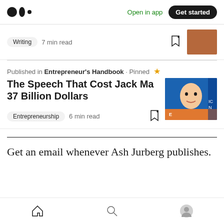Medium logo | Open in app | Get started
Writing · 7 min read
Published in Entrepreneur's Handbook · Pinned
The Speech That Cost Jack Ma 37 Billion Dollars
Entrepreneurship · 6 min read
Get an email whenever Ash Jurberg publishes.
Home | Search | Profile